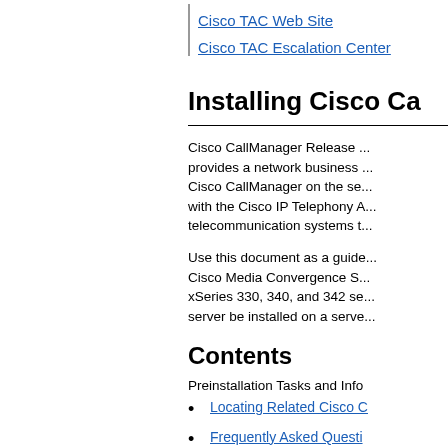Cisco TAC Web Site
Cisco TAC Escalation Center
Installing Cisco Ca
Cisco CallManager Release ... provides a network business ... Cisco CallManager on the se... with the Cisco IP Telephony A... telecommunication systems t...
Use this document as a guide... Cisco Media Convergence S... xSeries 330, 340, and 342 se... server be installed on a serve...
Contents
Preinstallation Tasks and Info
Locating Related Cisco C
Frequently Asked Questi
What hardware and CD-
How long does it take to